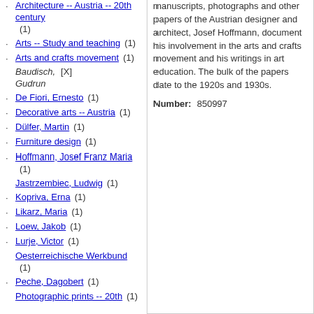Architecture -- Austria -- 20th century (1)
Arts -- Study and teaching (1)
Arts and crafts movement (1)
Baudisch, Gudrun [X]
De Fiori, Ernesto (1)
Decorative arts -- Austria (1)
Dülfer, Martin (1)
Furniture design (1)
Hoffmann, Josef Franz Maria (1)
Jastrzembiec, Ludwig (1)
Kopriva, Erna (1)
Likarz, Maria (1)
Loew, Jakob (1)
Lurje, Victor (1)
Oesterreichische Werkbund (1)
Peche, Dagobert (1)
Photographic prints -- 20th (1)
manuscripts, photographs and other papers of the Austrian designer and architect, Josef Hoffmann, document his involvement in the arts and crafts movement and his writings in art education. The bulk of the papers date to the 1920s and 1930s.
Number: 850997